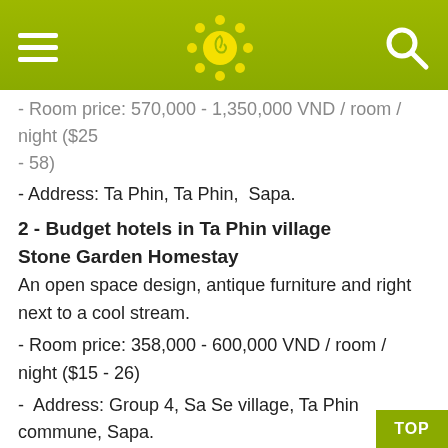[Navigation bar with hamburger menu, sun logo, and search icon]
- Room price: 570,000 - 1,350,000 VND / room / night ($25 - 58)
- Address: Ta Phin, Ta Phin,  Sapa.
2 - Budget hotels in Ta Phin village
Stone Garden Homestay
An open space design, antique furniture and right next to a cool stream.
- Room price: 358,000 - 600,000 VND / room / night ($15 - 26)
- Address: Group 4, Sa Se village, Ta Phin commune, Sapa.
IV - Sapa hotels in Ta Van village